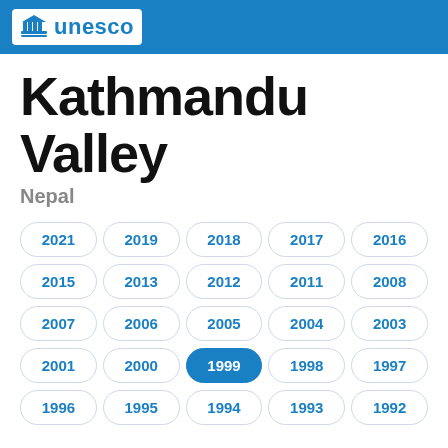unesco
Kathmandu Valley
Nepal
2021
2019
2018
2017
2016
2015
2013
2012
2011
2008
2007
2006
2005
2004
2003
2001
2000
1999 (active)
1998
1997
1996
1995
1994
1993
1992